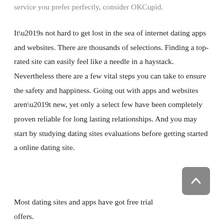service you prefer perfectly, consider OKCupid.
It’s not hard to get lost in the sea of internet dating apps and websites. There are thousands of selections. Finding a top-rated site can easily feel like a needle in a haystack. Nevertheless there are a few vital steps you can take to ensure the safety and happiness. Going out with apps and websites aren’t new, yet only a select few have been completely proven reliable for long lasting relationships. And you may start by studying dating sites evaluations before getting started a online dating site.
Most dating sites and apps have got free trial offers.